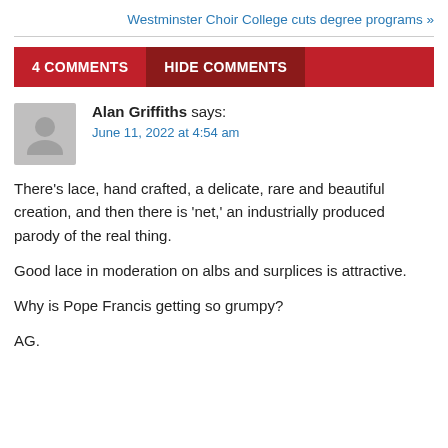Westminster Choir College cuts degree programs »
4 COMMENTS   HIDE COMMENTS
Alan Griffiths says:
June 11, 2022 at 4:54 am
There's lace, hand crafted, a delicate, rare and beautiful creation, and then there is 'net,' an industrially produced parody of the real thing.

Good lace in moderation on albs and surplices is attractive.

Why is Pope Francis getting so grumpy?

AG.